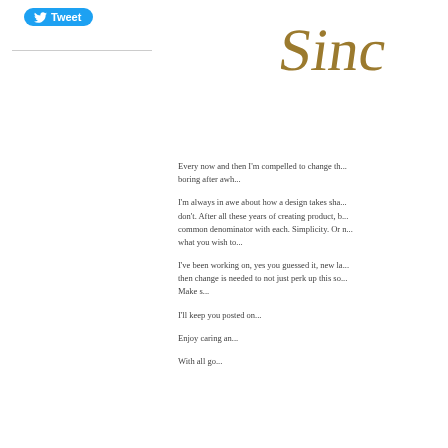[Figure (other): Tweet button (Twitter/X social share button in blue)]
[Figure (other): Cursive signature in golden/brown color reading 'Sinc...' (Sincerely)]
Every now and then I'm compelled to change th... boring after awh...
I'm always in awe about how a design takes sha... don't. After all these years of creating product, b... common denominator with each. Simplicity. Or n... what you wish to...
I've been working on, yes you guessed it, new la... then change is needed to not just perk up this so... Make s...
I'll keep you posted on...
Enjoy caring an...
With all go...